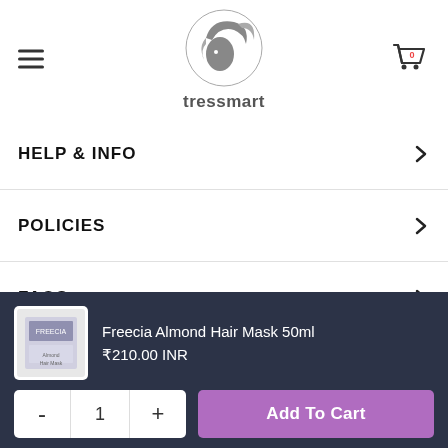[Figure (logo): Tressmart logo - circular hair/face illustration in grey with text 'tressmart' below]
HELP & INFO
POLICIES
FAQS
SPECIALITY
Freecia Almond Hair Mask 50ml
₹210.00 INR
- 1 +
Add To Cart